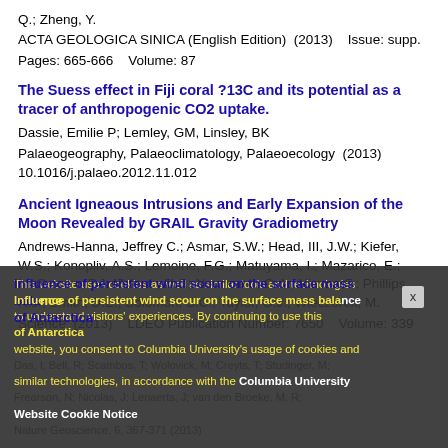Q.; Zheng, Y.
ACTA GEOLOGICA SINICA (English Edition)  (2013)    Issue: supp.
Pages: 665-666    Volume: 87
The Suess effect in Fiji coral ?13C and its potential as a tracer of anthropogenic CO2 uptake.
Dassie, Emilie P; Lemley, GM, Linsley, BK
Palaeogeography, Palaeoclimatology, Palaeoecology  (2013)
10.1016/j.palaeo.2012.11.012
Ancient Igneaous Intrusions and Early Expansion of the Moon Revealed by GRAIL Gravity Gradiometry
Andrews-Hanna, Jeffrey C.; Asmar, S.W.; Head, III, J.W.; Kiefer, W.S.; Konopliv, A.S.; Lemoine, F.G.; Matuyama, I.; Mazarico, E.; McGovern, P.J. Melosh, H.J.; Newmann, G.A.; Nimmo,F.; Phillips, R.J.; Smith, D.E.; Solomon, S.C.; Taylor, G.J.; Wieczorek, M.
Science  (2013)    LDEO Publication Number: 7650    Volume: 339
Influence of persistent wind scour on the surface mass balance of Antarctica
Das, I; Bell, R; Scambos, T; Wolovick, M; Creyts, T; Studinger, M; Frearson, N; Nicolas, J; Lenaerts, J; van den Broeke, M. R;
Nature Geoscience, 6, 367-371  (2013)
This website uses cookies as well as similar tools and technologies to understand visitors' experiences. By continuing to use this website, you consent to Columbia University's usage of cookies and similar technologies, in accordance with the Columbia University Website Cookie Notice